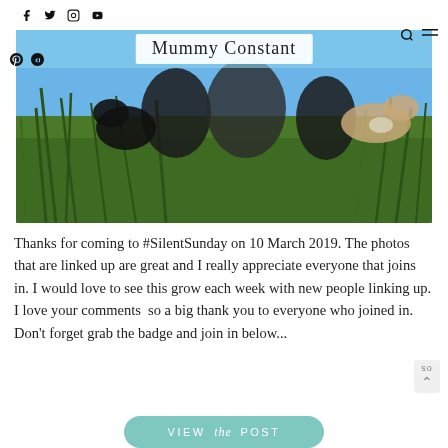Social icons: Facebook, Twitter, Instagram, YouTube, Pinterest, Bloglovin | Mummy Constant logo | Search and menu icons
[Figure (photo): Children and dogs lying in grass with blue sky background, photo header for Mummy Constant blog]
Thanks for coming to #SilentSunday on 10 March 2019. The photos that are linked up are great and I really appreciate everyone that joins in. I would love to see this grow each week with new people linking up. I love your comments so a big thank you to everyone who joined in. Don't forget grab the badge and join in below...
VIEW the POST